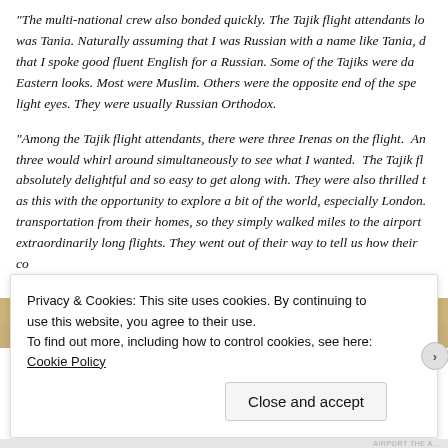“The multi-national crew also bonded quickly. The Tajik flight attendants lo… was Tania. Naturally assuming that I was Russian with a name like Tania, … that I spoke good fluent English for a Russian. Some of the Tajiks were da… Eastern looks. Most were Muslim. Others were the opposite end of the spe… light eyes. They were usually Russian Orthodox.
“Among the Tajik flight attendants, there were three Irenas on the flight. An… three would whirl around simultaneously to see what I wanted. The Tajik fl… absolutely delightful and so easy to get along with. They were also thrilled … as this with the opportunity to explore a bit of the world, especially London.… transportation from their homes, so they simply walked miles to the airport … extraordinarily long flights. They went out of their way to tell us how their co… upheaval economically. In addition, Afghani insurgents were coming over th… and they wanted none of it. ‘Tania, we just all want peace and to be able to… me.”
Privacy & Cookies: This site uses cookies. By continuing to use this website, you agree to their use.
To find out more, including how to control cookies, see here: Cookie Policy
Close and accept